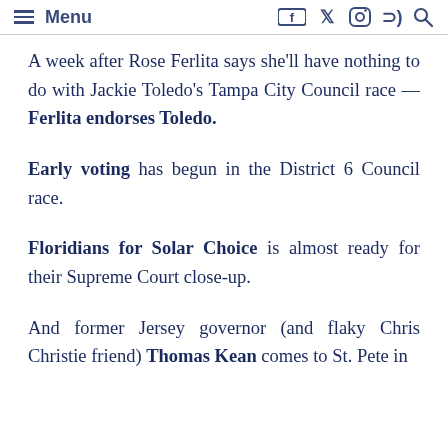Menu
A week after Rose Ferlita says she'll have nothing to do with Jackie Toledo's Tampa City Council race — Ferlita endorses Toledo.
Early voting has begun in the District 6 Council race.
Floridians for Solar Choice is almost ready for their Supreme Court close-up.
And former Jersey governor (and flaky Chris Christie friend) Thomas Kean comes to St. Pete in